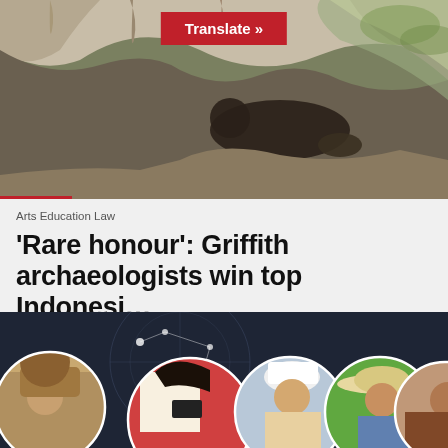[Figure (photo): Cave interior photo showing person resting in a rocky cave environment, taken from below looking up]
Translate »
Arts Education Law
'Rare honour': Griffith archaeologists win top Indonesi...
Award recognises Griffith's ground-breaking research into rock art dating in Indonesia.
[Figure (photo): Collage of circular portrait photos showing Indonesian people: woman with pot on head, child in red dress using phone, man in traditional Balinese dress, man in straw hat, older woman]